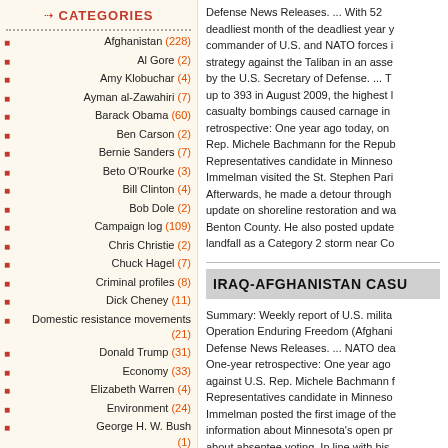CATEGORIES
Afghanistan (228)
Al Gore (2)
Amy Klobuchar (4)
Ayman al-Zawahiri (7)
Barack Obama (60)
Ben Carson (2)
Bernie Sanders (7)
Beto O'Rourke (3)
Bill Clinton (4)
Bob Dole (2)
Campaign log (109)
Chris Christie (2)
Chuck Hagel (7)
Criminal profiles (8)
Dick Cheney (11)
Domestic resistance movements (21)
Donald Trump (31)
Economy (33)
Elizabeth Warren (4)
Environment (24)
George H. W. Bush (1)
George W. Bush (21)
Hillary Clinton (9)
Defense News Releases. ... With 52 deadliest month of the deadliest year y commander of U.S. and NATO forces i strategy against the Taliban in an asse by the U.S. Secretary of Defense. ... T up to 393 in August 2009, the highest l casualty bombings caused carnage in retrospective: One year ago today, on Rep. Michele Bachmann for the Repub Representatives candidate in Minneso Immelman visited the St. Stephen Pari Afterwards, he made a detour through update on shoreline restoration and wa Benton County. He also posted update landfall as a Category 2 storm near Co
IRAQ-AFGHANISTAN CASU
Summary: Weekly report of U.S. milita Operation Enduring Freedom (Afghani Defense News Releases. ... NATO dea One-year retrospective: One year ago against U.S. Rep. Michele Bachmann f Representatives candidate in Minneso Immelman posted the first image of the information about Minnesota's open pr about absentee voting. In line with his also posted an update on the Iraq war